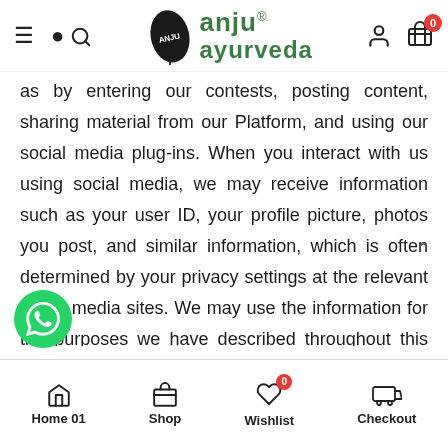anju® ayurveda
as by entering our contests, posting content, sharing material from our Platform, and using our social media plug-ins. When you interact with us using social media, we may receive information such as your user ID, your profile picture, photos you post, and similar information, which is often determined by your privacy settings at the relevant social media sites. We may use the information for the purposes we have described throughout this Policy. Your use of social media sites is primarily governed by the site operators' privacy policies and terms of service, and the
Home 01  Shop  Wishlist  Checkout